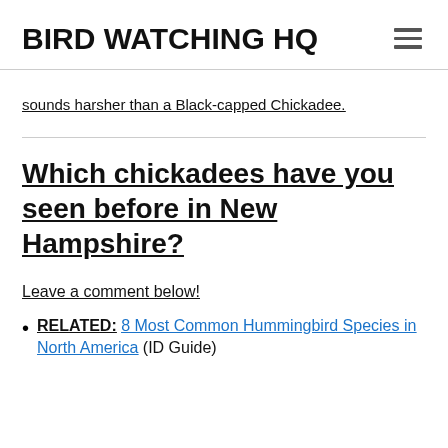BIRD WATCHING HQ
sounds harsher than a Black-capped Chickadee.
Which chickadees have you seen before in New Hampshire?
Leave a comment below!
RELATED: 8 Most Common Hummingbird Species in North America (ID Guide)